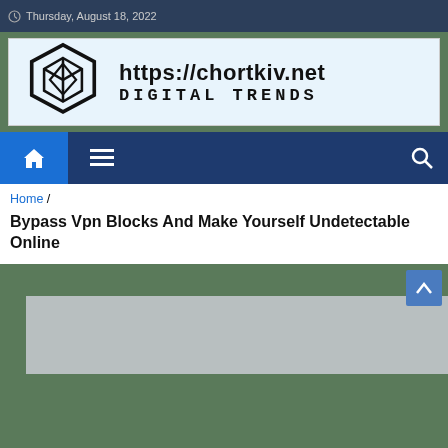Thursday, August 18, 2022
[Figure (logo): Chortkiv.net Digital Trends logo with hexagonal cube icon and URL text]
[Figure (screenshot): Navigation bar with home icon, hamburger menu, and search icon on dark blue background]
Home /
Bypass Vpn Blocks And Make Yourself Undetectable Online
[Figure (photo): Gray placeholder image area at bottom of page]